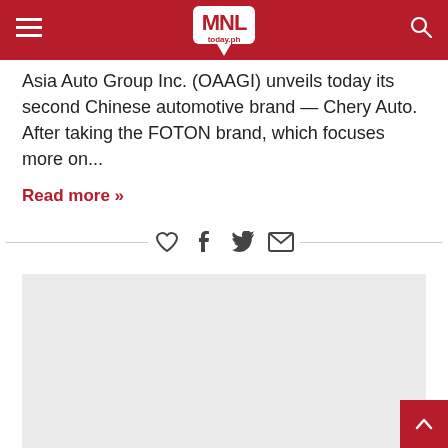MNL today.ph
Asia Auto Group Inc. (OAAGI) unveils today its second Chinese automotive brand — Chery Auto. After taking the FOTON brand, which focuses more on...
Read more »
[Figure (other): Social sharing icons row: heart (like), Facebook, Twitter, email]
[Figure (other): Advertisement placeholder block (gray rectangle)]